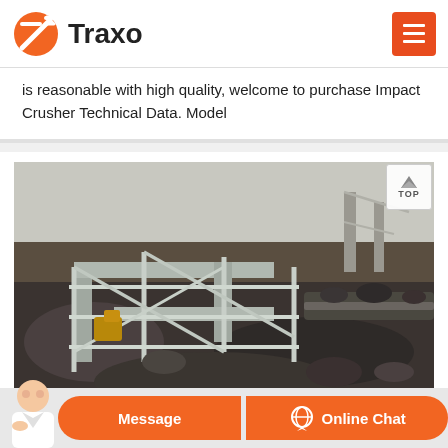Traxo
is reasonable with high quality, welcome to purchase Impact Crusher Technical Data. Model
[Figure (photo): Industrial mining or crushing facility site showing metal scaffolding/railing structures over excavated ground with rocks and machinery visible.]
Message | Online Chat